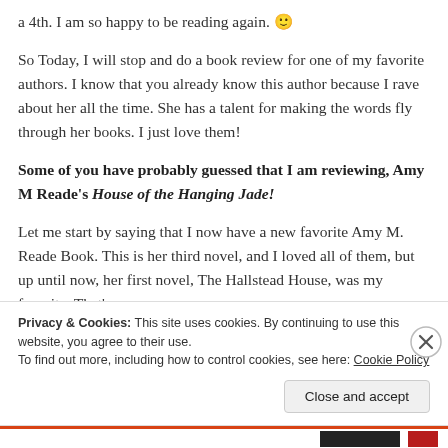a 4th. I am so happy to be reading again. 🙂
So Today, I will stop and do a book review for one of my favorite authors. I know that you already know this author because I rave about her all the time. She has a talent for making the words fly through her books. I just love them!
Some of you have probably guessed that I am reviewing, Amy M Reade's House of the Hanging Jade!
Let me start by saying that I now have a new favorite Amy M. Reade Book. This is her third novel, and I loved all of them, but up until now, her first novel, The Hallstead House, was my favorite. That's
Privacy & Cookies: This site uses cookies. By continuing to use this website, you agree to their use.
To find out more, including how to control cookies, see here: Cookie Policy
Close and accept